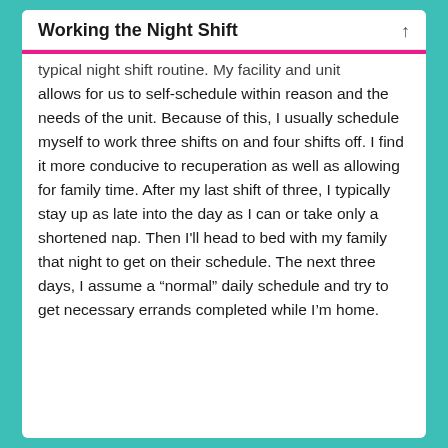Working the Night Shift
typical night shift routine. My facility and unit allows for us to self-schedule within reason and the needs of the unit. Because of this, I usually schedule myself to work three shifts on and four shifts off. I find it more conducive to recuperation as well as allowing for family time. After my last shift of three, I typically stay up as late into the day as I can or take only a shortened nap. Then I'll head to bed with my family that night to get on their schedule. The next three days, I assume a “normal” daily schedule and try to get necessary errands completed while I’m home.